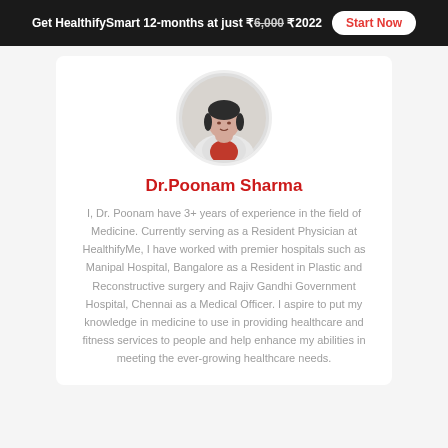Get HealthifySmart 12-months at just ₹6,000 ₹2022  Start Now
[Figure (photo): Circular profile photo of Dr. Poonam Sharma, a female physician wearing a white coat and red top, with stethoscope]
Dr.Poonam Sharma
I, Dr. Poonam have 3+ years of experience in the field of Medicine. Currently serving as a Resident Physician at HealthifyMe, I have worked with premier hospitals such as Manipal Hospital, Bangalore as a Resident in Plastic and Reconstructive surgery and Rajiv Gandhi Government Hospital, Chennai as a Medical Officer. I aspire to put my knowledge in medicine to use in providing healthcare and fitness services to people and help enhance my abilities in meeting the ever-growing healthcare needs.